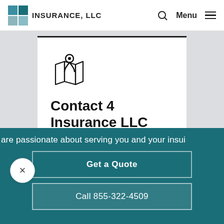4 INSURANCE, LLC
[Figure (logo): 4 Insurance LLC logo with teal square grid icon and text INSURANCE, LLC]
[Figure (illustration): Map pin / location icon with open map book outline]
Contact 4 Insurance LLC
Saginaw, MI
are passionate about serving you and your insui
Get a Quote
Call 855-322-4509